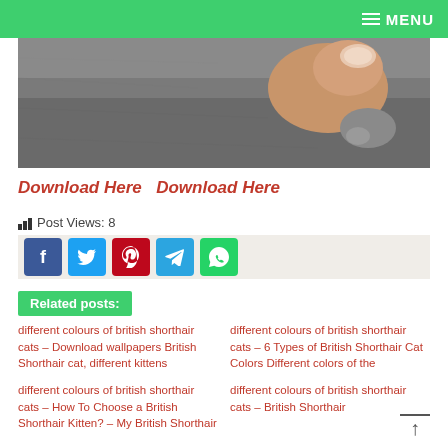MENU
[Figure (photo): Close-up photo of a hand touching a British Shorthair cat's paw, showing grey fur]
Download Here  Download Here
Post Views: 8
[Figure (other): Social share buttons: Facebook, Twitter, Pinterest, Telegram, WhatsApp]
Related posts:
different colours of british shorthair cats – Download wallpapers British Shorthair cat, different kittens
different colours of british shorthair cats – 6 Types of British Shorthair Cat Colors Different colors of the
different colours of british shorthair cats – How To Choose a British Shorthair Kitten? – My British Shorthair
different colours of british shorthair cats – British Shorthair